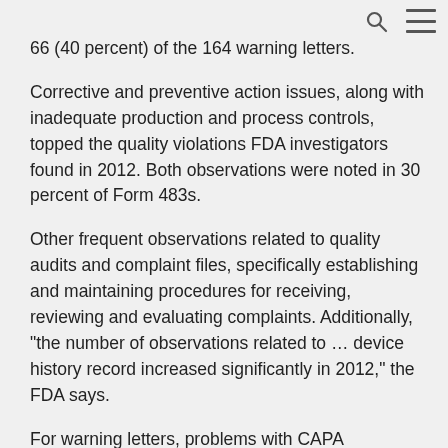66 (40 percent) of the 164 warning letters.
Corrective and preventive action issues, along with inadequate production and process controls, topped the quality violations FDA investigators found in 2012. Both observations were noted in 30 percent of Form 483s.
Other frequent observations related to quality audits and complaint files, specifically establishing and maintaining procedures for receiving, reviewing and evaluating complaints. Additionally, "the number of observations related to … device history record increased significantly in 2012," the FDA says.
For warning letters, problems with CAPA procedures and complaint files were the most frequent citations. The agency notes two violations that were cited at higher rates in warning letters than in inspectional observations: